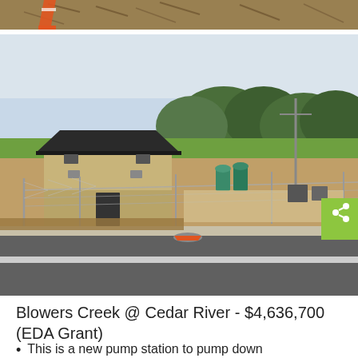[Figure (photo): Top portion of a construction site photo showing orange traffic cone and brown/tan material (mulch or dirt) spread across the ground.]
[Figure (photo): Photo of a new pump station facility at Blowers Creek near Cedar River. Shows a tan brick building with dark roof, chain-link fence surrounding the facility, green pump equipment visible inside the fenced area, and a road in the foreground with an orange traffic cone lying on the ground.]
Blowers Creek @ Cedar River - $4,636,700 (EDA Grant)
This is a new pump station to pump down